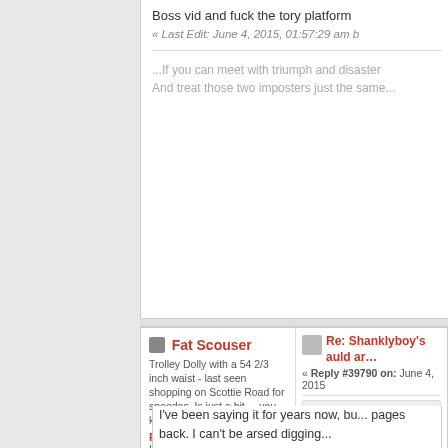Boss vid and fuck the tory platform
« Last Edit: June 4, 2015, 01:57:29 am b
...If you can meet with triumph and disaster
And treat those two imposters just the same...
Fat Scouser
Trolley Dolly with a 54 2/3 inch waist - last seen shopping on Scottie Road for speedos. Is just a bit.....you know.....
RAWK Writer
Legacy Fan
[Figure (photo): Avatar of Fat Scouser - man in red Liverpool FC kit]
Posts: 23,906
Re: Shanklyboy's auld ar...
« Reply #39790 on: June 4, 2015
Quote from: Terry de Niro on June
Sick of hearing about stadium expans... locals won't get a fucking look in and i... the fact it cost me near enough 200 ni... passion I have for my/our club is slow... never relate to that, even if I was in a...
I've been saying it for years now, bu... pages back. I can't be arsed digging...
It's how I feel, anyway. I only go ra...